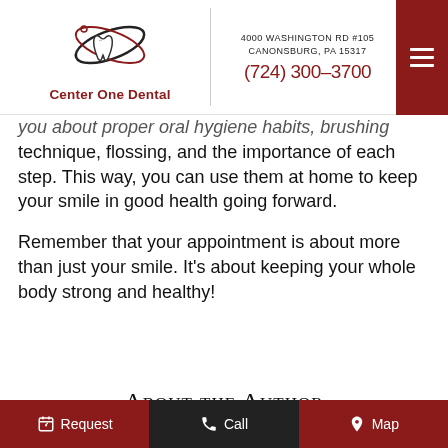[Figure (logo): Center One Dental logo with tooth and orbital ring design]
4000 WASHINGTON RD #105
CANONSBURG, PA 15317
(724) 300-3700
you about proper oral hygiene habits, brushing technique, flossing, and the importance of each step. This way, you can use them at home to keep your smile in good health going forward.
Remember that your appointment is about more than just your smile. It's about keeping your whole body strong and healthy!
About the Author
Request   Call   Map